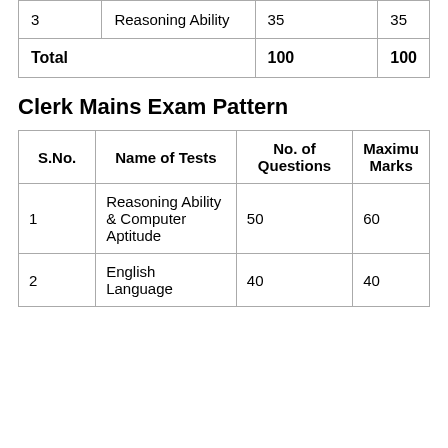| S.No. | Name of Tests | No. of Questions | Maximum Marks |
| --- | --- | --- | --- |
| 3 | Reasoning Ability | 35 | 35 |
| Total |  | 100 | 100 |
Clerk Mains Exam Pattern
| S.No. | Name of Tests | No. of Questions | Maximum Marks |
| --- | --- | --- | --- |
| 1 | Reasoning Ability & Computer Aptitude | 50 | 60 |
| 2 | English Language | 40 | 40 |